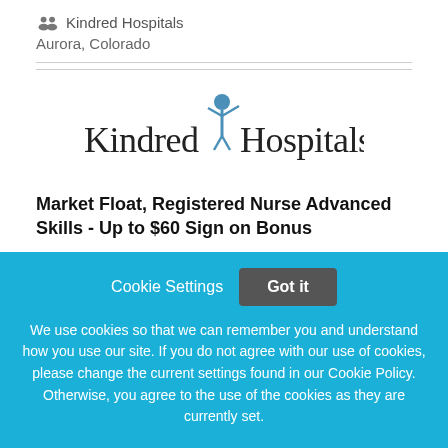Kindred Hospitals
Aurora, Colorado
[Figure (logo): Kindred Hospitals logo with stylized person figure and serif text]
Market Float, Registered Nurse Advanced Skills - Up to $60 Sign on Bonus
Cookie Settings  Got it

We use cookies so that we can remember you and understand how you use our site. If you do not agree with our use of cookies, please change the current settings found in our Cookie Policy. Otherwise, you agree to the use of the cookies as they are currently set.